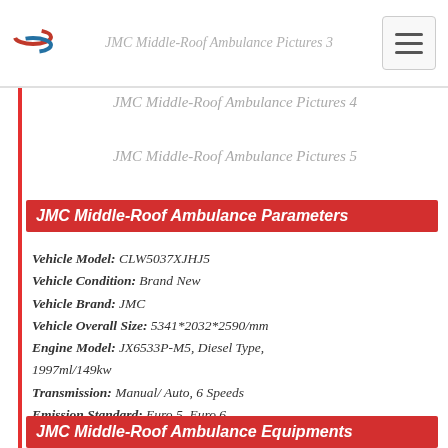JMC Middle-Roof Ambulance Pictures 3
JMC Middle-Roof Ambulance Pictures 4
JMC Middle-Roof Ambulance Pictures 5
JMC Middle-Roof Ambulance Parameters
Vehicle Model: CLW5037XJHJ5
Vehicle Condition: Brand New
Vehicle Brand: JMC
Vehicle Overall Size: 5341*2032*2590/mm
Engine Model: JX6533P-M5, Diesel Type, 1997ml/149kw
Transmission: Manual/ Auto, 6 Speeds
Emission Standard: Euro 5, Euro 6
JMC Middle-Roof Ambulance Equipments